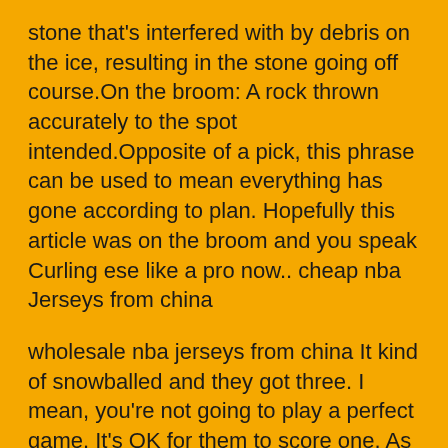stone that's interfered with by debris on the ice, resulting in the stone going off course.On the broom: A rock thrown accurately to the spot intended.Opposite of a pick, this phrase can be used to mean everything has gone according to plan. Hopefully this article was on the broom and you speak Curling ese like a pro now.. cheap nba Jerseys from china
wholesale nba jerseys from china It kind of snowballed and they got three. I mean, you're not going to play a perfect game. It's OK for them to score one. As a buyer contingency, you are asking that the contract be contingent on your selling and settling another home within a specified time. Be prepared for the seller to evaluate your current home listing is the home on the market, for how much, for how long, etc. Before they accept or